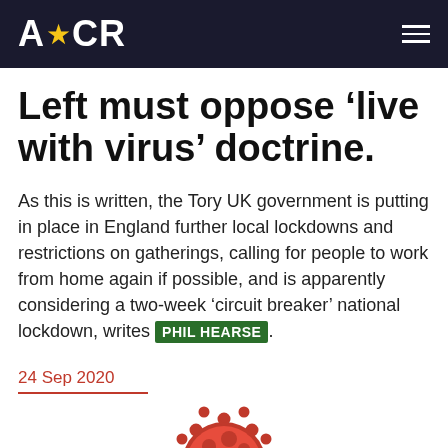ACR
Left must oppose ‘live with virus’ doctrine.
As this is written, the Tory UK government is putting in place in England further local lockdowns and restrictions on gatherings, calling for people to work from home again if possible, and is apparently considering a two-week ‘circuit breaker’ national lockdown, writes PHIL HEARSE.
24 Sep 2020
[Figure (photo): Partial image of red coronavirus particles at the bottom of the page]